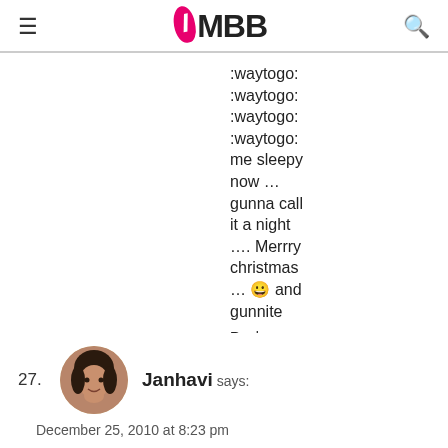IMBB
:waytogo: :waytogo: :waytogo: :waytogo: me sleepy now … gunna call it a night …. Merrry christmas … 😀 and gunnite
Reply
27. Janhavi says: December 25, 2010 at 8:23 pm